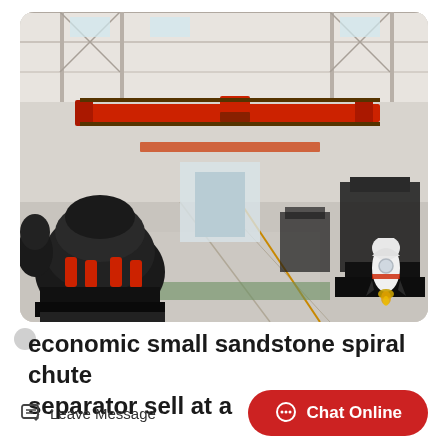[Figure (photo): Interior of a large industrial factory/workshop with overhead red bridge crane, heavy black mining/crushing machinery on the left, and a wide concrete floor extending to the back. High ceilings with steel trusses and skylights.]
economic small sandstone spiral chute separator sell at a
Leave Message
Chat Online